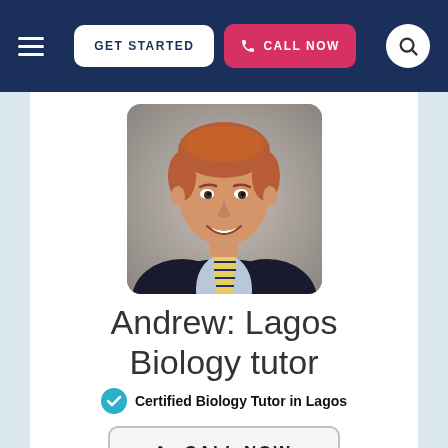GET STARTED | CALL NOW
[Figure (photo): Professional headshot of a young man with red/auburn hair, wearing a dark blazer, light blue shirt, and yellow/navy striped tie, smiling at camera against a grey background]
Andrew: Lagos Biology tutor
Certified Biology Tutor in Lagos
CALL NOW